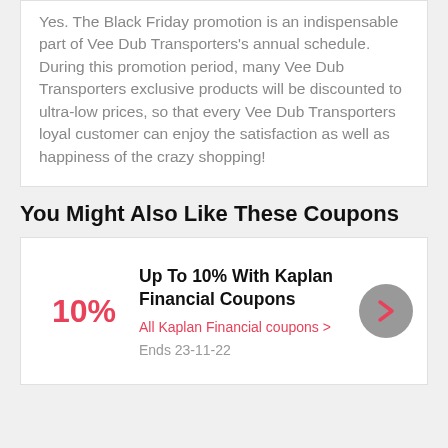Yes. The Black Friday promotion is an indispensable part of Vee Dub Transporters's annual schedule. During this promotion period, many Vee Dub Transporters exclusive products will be discounted to ultra-low prices, so that every Vee Dub Transporters loyal customer can enjoy the satisfaction as well as happiness of the crazy shopping!
You Might Also Like These Coupons
10%
Up To 10% With Kaplan Financial Coupons
All Kaplan Financial coupons >
Ends 23-11-22